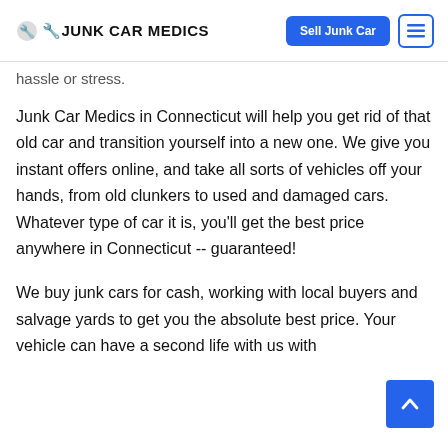JUNK CAR MEDICS | Sell Junk Car | Menu
hassle or stress.
Junk Car Medics in Connecticut will help you get rid of that old car and transition yourself into a new one. We give you instant offers online, and take all sorts of vehicles off your hands, from old clunkers to used and damaged cars. Whatever type of car it is, you'll get the best price anywhere in Connecticut -- guaranteed!
We buy junk cars for cash, working with local buyers and salvage yards to get you the absolute best price. Your vehicle can have a second life with us with